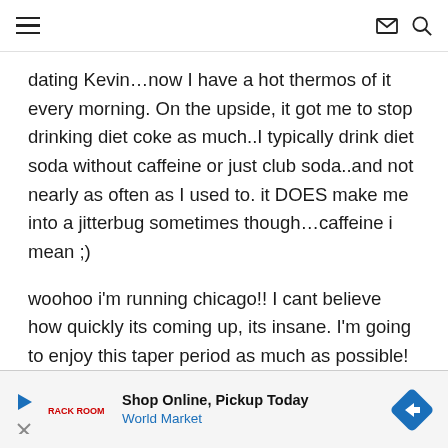[hamburger menu | envelope icon | search icon]
dating Kevin…now I have a hot thermos of it every morning. On the upside, it got me to stop drinking diet coke as much..I typically drink diet soda without caffeine or just club soda..and not nearly as often as I used to. it DOES make me into a jitterbug sometimes though…caffeine i mean ;)
woohoo i'm running chicago!! I cant believe how quickly its coming up, its insane. I'm going to enjoy this taper period as much as possible!
todays workout was an hour of crosstraining and
Shop Online, Pickup Today — World Market [advertisement]